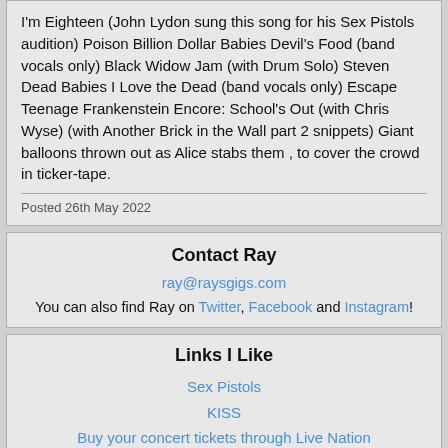I'm Eighteen (John Lydon sung this song for his Sex Pistols audition) Poison Billion Dollar Babies Devil's Food (band vocals only) Black Widow Jam (with Drum Solo) Steven Dead Babies I Love the Dead (band vocals only) Escape Teenage Frankenstein Encore: School's Out (with Chris Wyse) (with Another Brick in the Wall part 2 snippets) Giant balloons thrown out as Alice stabs them , to cover the crowd in ticker-tape.
Posted 26th May 2022
Contact Ray
ray@raysgigs.com
You can also find Ray on Twitter, Facebook and Instagram!
Links I Like
Sex Pistols
KISS
Buy your concert tickets through Live Nation
Toptable: London Restaurants
Official London Theatre
Rebellion Festivals